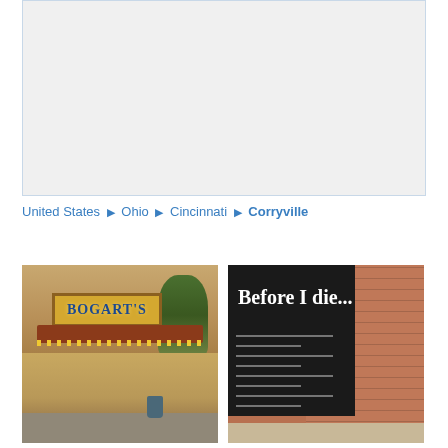[Figure (map): Map placeholder showing a geographic map region, light gray background with blue border]
United States ▶ Ohio ▶ Cincinnati ▶ Corryville
[Figure (photo): Photo of Bogart's music venue exterior in Corryville, Cincinnati, showing the yellow/tan building facade with the BOGART'S marquee sign, string lights on awning, trees in background, sidewalk in foreground]
[Figure (photo): Photo of a 'Before I die...' black community chalkboard wall installation on the side of a brick building, with white text and fill-in lines for passersby]